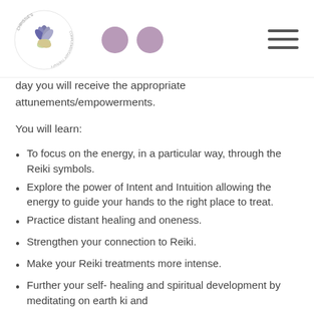Chrissie's Complementary Therapy logo with social media icons and hamburger menu
day you will receive the appropriate attunements/empowerments.
You will learn:
To focus on the energy, in a particular way, through the Reiki symbols.
Explore the power of Intent and Intuition allowing the energy to guide your hands to the right place to treat.
Practice distant healing and oneness.
Strengthen your connection to Reiki.
Make your Reiki treatments more intense.
Further your self- healing and spiritual development by meditating on earth ki and